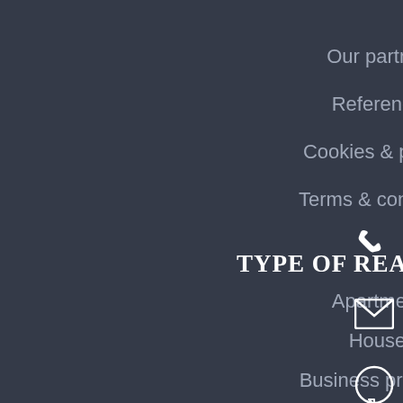Our partners
References
Cookies & privacy
Terms & conditions
TYPE OF REAL ESTATE
Apartments
Houses
Business premises
Plots/Lands
TYPE OF DEAL